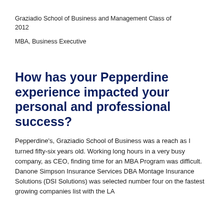Graziadio School of Business and Management Class of 2012
MBA, Business Executive
How has your Pepperdine experience impacted your personal and professional success?
Pepperdine's, Graziadio School of Business was a reach as I turned fifty-six years old. Working long hours in a very busy company, as CEO, finding time for an MBA Program was difficult. Danone Simpson Insurance Services DBA Montage Insurance Solutions (DSI Solutions) was selected number four on the fastest growing companies list with the LA